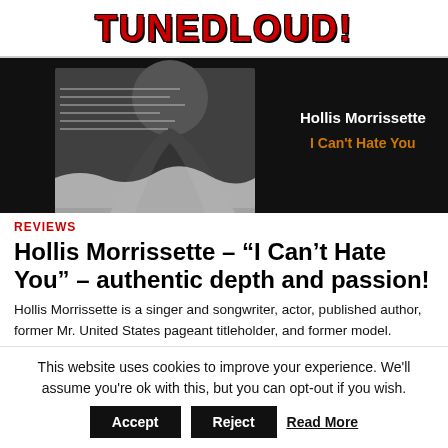TUNEDLOUD!
[Figure (photo): Black and white album cover image for Hollis Morrissette 'I Can't Hate You', showing a draped figure against newspaper background, with artist name and title text overlay in white and orange.]
REVIEWS
Hollis Morrissette – “I Can’t Hate You” – authentic depth and passion!
Hollis Morrissette is a singer and songwriter, actor, published author, former Mr. United States pageant titleholder, and former model. Moreover, he is a talented independent music artist based in...
This website uses cookies to improve your experience. We'll assume you're ok with this, but you can opt-out if you wish.   Accept   Reject   Read More